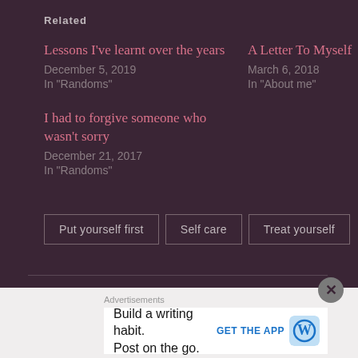Related
Lessons I've learnt over the years
December 5, 2019
In "Randoms"
A Letter To Myself
March 6, 2018
In "About me"
I had to forgive someone who wasn't sorry
December 21, 2017
In "Randoms"
Put yourself first
Self care
Treat yourself
Advertisements
Build a writing habit. Post on the go.
GET THE APP